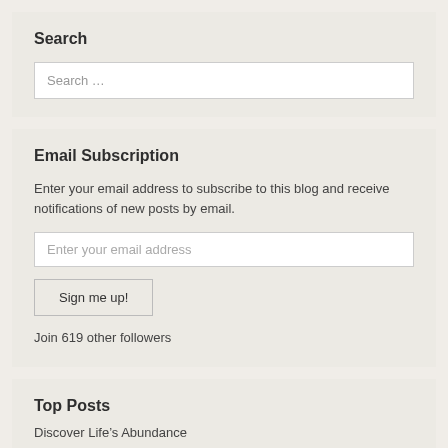Search
Search …
Email Subscription
Enter your email address to subscribe to this blog and receive notifications of new posts by email.
Enter your email address
Sign me up!
Join 619 other followers
Top Posts
Discover Life's Abundance